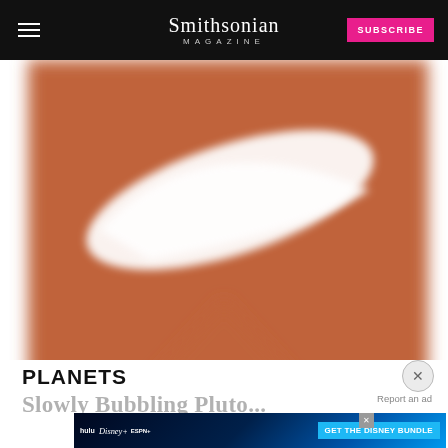Smithsonian MAGAZINE | SUBSCRIBE
[Figure (photo): Close-up blurred image of a Nike logo on a reddish-brown/terracotta background with a triangular shape at bottom]
PLANETS
Slowly Bubbling Plu...
[Figure (other): Disney Bundle advertisement banner showing hulu, Disney+, ESPN+ logos with GET THE DISNEY BUNDLE call to action]